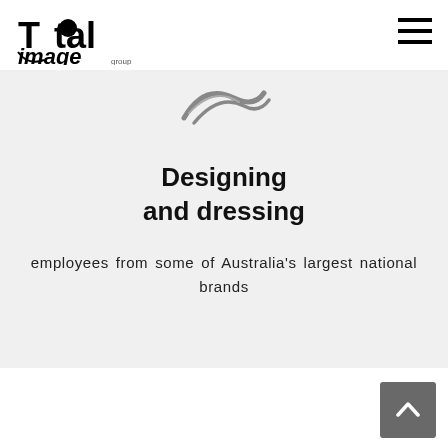Total Image Group
[Figure (logo): Total Image Group logo — stylized text with circular graphic element]
[Figure (illustration): Abstract swoosh/brand icon graphic in gray]
Designing and dressing
employees from some of Australia's largest national brands